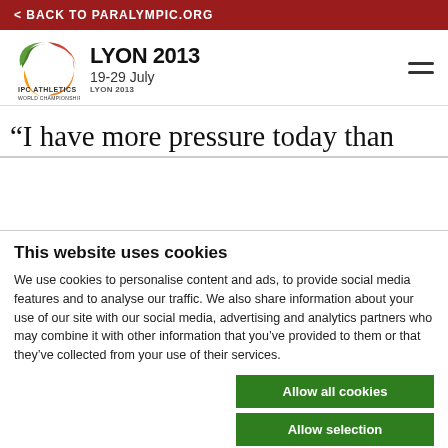< BACK TO PARALYMPIC.ORG
[Figure (logo): IPC Athletics World Championships Lyon 2013 logo with colored curved shapes]
LYON 2013
19-29 July
“I have more pressure today than other
This website uses cookies
We use cookies to personalise content and ads, to provide social media features and to analyse our traffic. We also share information about your use of our site with our social media, advertising and analytics partners who may combine it with other information that you’ve provided to them or that they’ve collected from your use of their services.
Allow all cookies
Allow selection
Use necessary cookies on
essary  Preferences  Statistics  Show details  keting